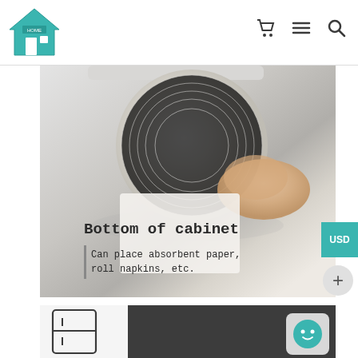Home store navigation with logo, cart, menu, and search icons
[Figure (photo): Photo of a paper towel roll mounted under a kitchen cabinet, with a hand pulling paper. Text overlay reads 'Bottom of cabinet' and 'Can place absorbent paper, roll napkins, etc.']
[Figure (photo): Partial photo of a dark-colored product (refrigerator side panel area) with a white fridge icon illustration on the left side and a teal chat support bubble on the bottom right.]